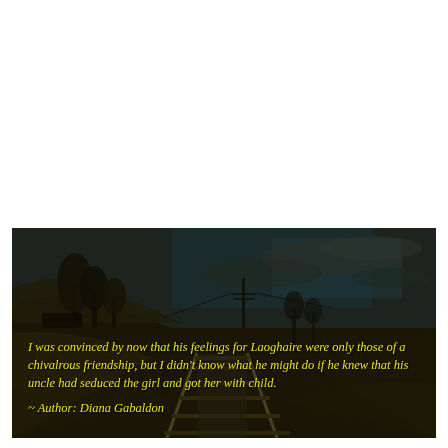[Figure (photo): Dark moody photograph of railway tracks receding into the distance, flanked by trees and utility poles under a stormy sky. The scene is very dark with brownish-green tones. Overlaid in yellow italic text is a quote from Diana Gabaldon.]
I was convinced by now that his feelings for Laoghaire were only those of a chivalrous friendship, but I didn't know what he might do if he knew that his uncle had seduced the girl and got her with child.
~ Author: Diana Gabaldon